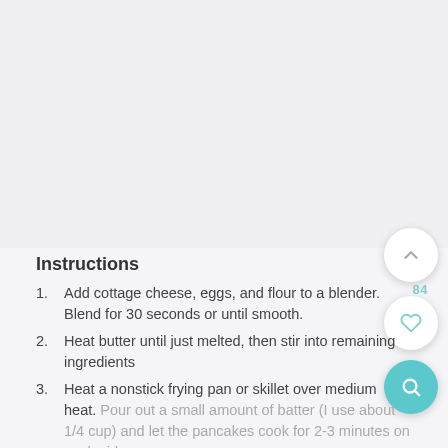[Figure (photo): Top portion of page showing a food/recipe image area (appears blank/loading in this capture)]
Instructions
Add cottage cheese, eggs, and flour to a blender. Blend for 30 seconds or until smooth.
Heat butter until just melted, then stir into remaining ingredients
Heat a nonstick frying pan or skillet over medium heat. Pour out a small amount of batter (I use about 1/4 cup) and let the pancakes cook for 2-3 minutes on each side.